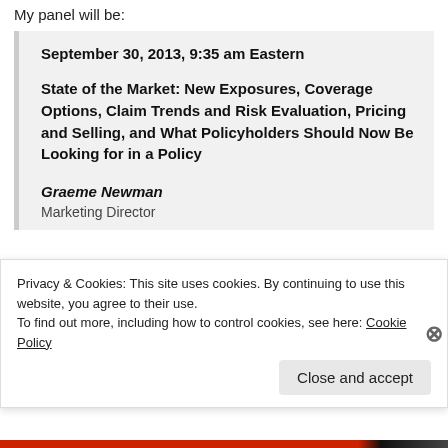My panel will be:
September 30, 2013, 9:35 am Eastern
State of the Market: New Exposures, Coverage Options, Claim Trends and Risk Evaluation, Pricing and Selling, and What Policyholders Should Now Be Looking for in a Policy
Graeme Newman
Marketing Director
Privacy & Cookies: This site uses cookies. By continuing to use this website, you agree to their use. To find out more, including how to control cookies, see here: Cookie Policy